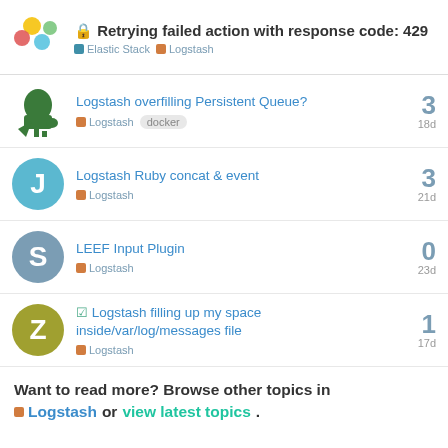Retrying failed action with response code: 429 | Elastic Stack | Logstash
Logstash overfilling Persistent Queue? | Logstash | docker | 3 | 18d
Logstash Ruby concat & event | Logstash | 3 | 21d
LEEF Input Plugin | Logstash | 0 | 23d
Logstash filling up my space inside/var/log/messages file | Logstash | 1 | 17d
Want to read more? Browse other topics in Logstash or view latest topics.